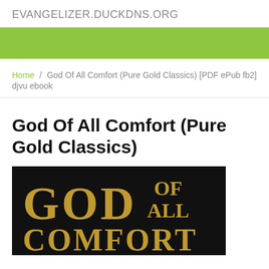EVANGELIZER.DUCKDNS.ORG
[Figure (other): Green navigation bar]
Home / God Of All Comfort (Pure Gold Classics) [PDF ePub fb2] djvu ebook
God Of All Comfort (Pure Gold Classics)
[Figure (photo): Book cover of 'God Of All Comfort' with gold text on black background showing GOD OF ALL COMFORT text]